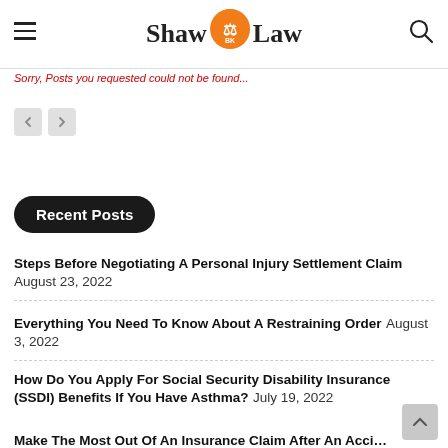Shaw BK Law
Sorry, Posts you requested could not be found...
Recent Posts
Steps Before Negotiating A Personal Injury Settlement Claim August 23, 2022
Everything You Need To Know About A Restraining Order August 3, 2022
How Do You Apply For Social Security Disability Insurance (SSDI) Benefits If You Have Asthma? July 19, 2022
Make The Most Out Of An Insurance Claim After An Accident June